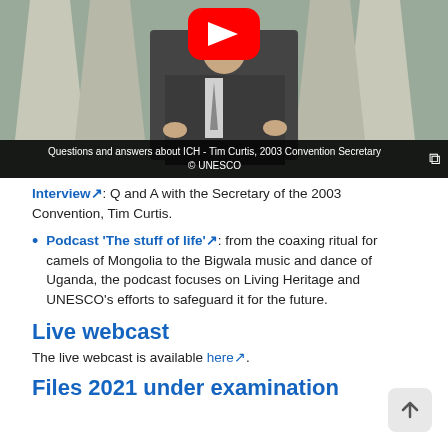[Figure (screenshot): YouTube video thumbnail showing a man in a dark suit speaking, with a red YouTube play button overlay. The video is titled 'Questions and answers about ICH - Tim Curtis, 2003 Convention Secretary © UNESCO']
Questions and answers about ICH - Tim Curtis, 2003 Convention Secretary © UNESCO
Interview: Q and A with the Secretary of the 2003 Convention, Tim Curtis.
Podcast 'The stuff of life': from the coaxing ritual for camels of Mongolia to the Bigwala music and dance of Uganda, the podcast focuses on Living Heritage and UNESCO's efforts to safeguard it for the future.
Live webcast
The live webcast is available here.
Files 2021 under examination